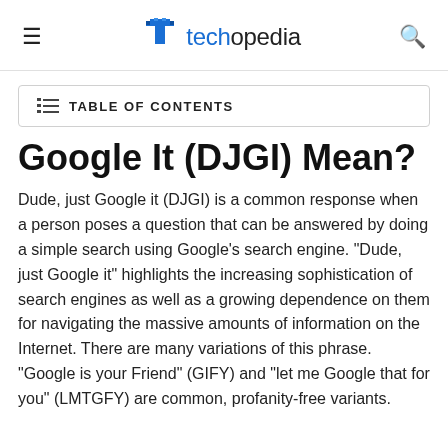techopedia
TABLE OF CONTENTS
Google It (DJGI) Mean?
Dude, just Google it (DJGI) is a common response when a person poses a question that can be answered by doing a simple search using Google’s search engine. “Dude, just Google it” highlights the increasing sophistication of search engines as well as a growing dependence on them for navigating the massive amounts of information on the Internet. There are many variations of this phrase. “Google is your Friend” (GIFY) and “let me Google that for you” (LMTGFY) are common, profanity-free variants.